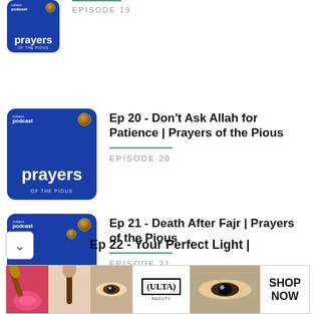[Figure (screenshot): Podcast app listing showing episodes of 'Prayers of the Pious'. Episode 19 is partially visible at top. Episode 20: 'Ep 20 - Don't Ask Allah for Patience | Prayers of the Pious'. Episode 21: 'Ep 21 - Death After Fajr | Prayers of the Pious'. Episode 22 partially visible at bottom: 'Ep 22 - Your Perfect Light |'. An Ulta Beauty advertisement banner appears at the very bottom.]